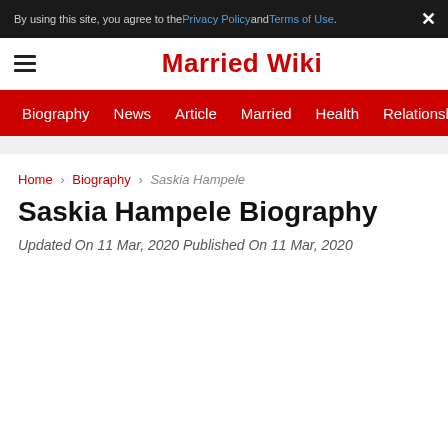By using this site, you agree to the Privacy Policy and Terms of Use.
Married Wiki
Biography  News  Article  Married  Health  Relationship  Ga
Home > Biography > Saskia Hampele
Saskia Hampele Biography
Updated On 11 Mar, 2020 Published On 11 Mar, 2020